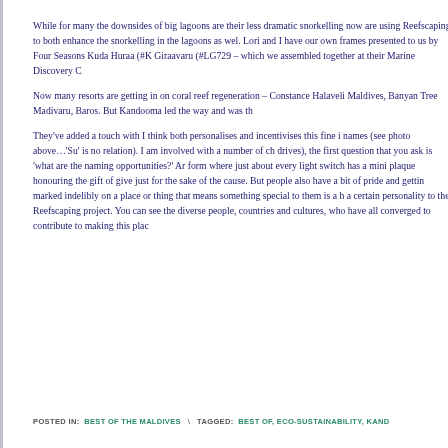While for many the downsides of big lagoons are their less dramatic snorkelling now are using Reefscaping to both enhance the snorkelling in the lagoons as wel. Lori and I have our own frames presented to us by Four Seasons Kuda Huraa (#K Giraavaru (#LG729 – which we assembled together at their Marine Discovery C
Now many resorts are getting in on coral reef regeneration – Constance Halaveli Maldives, Banyan Tree Madivaru, Baros. But Kandooma led the way and was th
They've added a touch with I think both personalises and incentivises this fine i names (see photo above…'Su' is no relation). I am involved with a number of ch drives), the first question that you ask is 'what are the naming opportunities?' Ar form where just about every light switch has a mini plaque honouring the gift of give just for the sake of the cause. But people also have a bit of pride and gettin marked indelibly on a place or thing that means something special to them is a h a certain personality to the Reefscaping project. You can see the diverse people, countries and cultures, who have all converged to contribute to making this plac
POSTED IN: BEST OF THE MALDIVES  \  TAGGED: BEST OF, ECO-SUSTAINABILITY, KAND